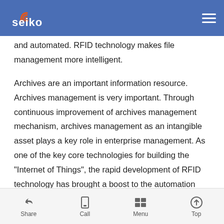Seiko — navigation header with hamburger menu
and automated. RFID technology makes file management more intelligent.
Archives are an important information resource. Archives management is very important. Through continuous improvement of archives management mechanism, archives management as an intangible asset plays a key role in enterprise management. As one of the key core technologies for building the "Internet of Things", the rapid development of RFID technology has brought a boost to the automation and intelligence of file management.
Share | Call | Menu | Top